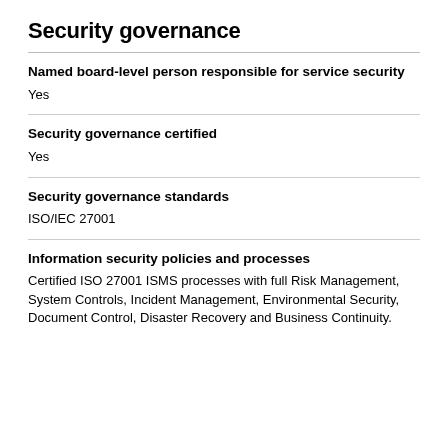Security governance
Named board-level person responsible for service security
Yes
Security governance certified
Yes
Security governance standards
ISO/IEC 27001
Information security policies and processes
Certified ISO 27001 ISMS processes with full Risk Management, System Controls, Incident Management, Environmental Security, Document Control, Disaster Recovery and Business Continuity.